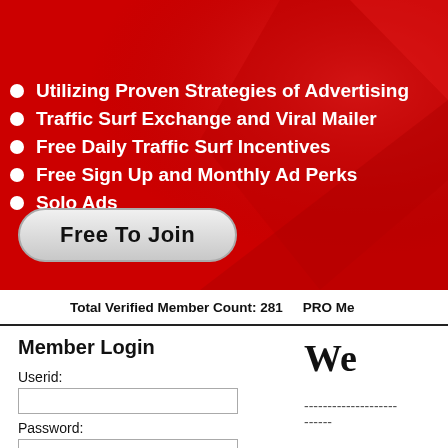PRONTO TRAFFIC AD
Utilizing Proven Strategies of Advertising
Traffic Surf Exchange and Viral Mailer
Free Daily Traffic Surf Incentives
Free Sign Up and Monthly Ad Perks
Solo Ads
Free To Join
Total Verified Member Count: 281     PRO Me
Member Login
We
Userid:
Password: